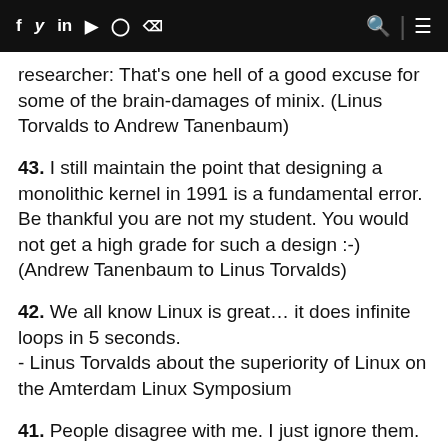f y in ▶ ⊙ ))) 🔍 ≡
researcher: That's one hell of a good excuse for some of the brain-damages of minix. (Linus Torvalds to Andrew Tanenbaum)
43. I still maintain the point that designing a monolithic kernel in 1991 is a fundamental error. Be thankful you are not my student. You would not get a high grade for such a design :-) (Andrew Tanenbaum to Linus Torvalds)
42. We all know Linux is great… it does infinite loops in 5 seconds.
- Linus Torvalds about the superiority of Linux on the Amterdam Linux Symposium
41. People disagree with me. I just ignore them. (Linus Torvalds, regarding the use of C++ for